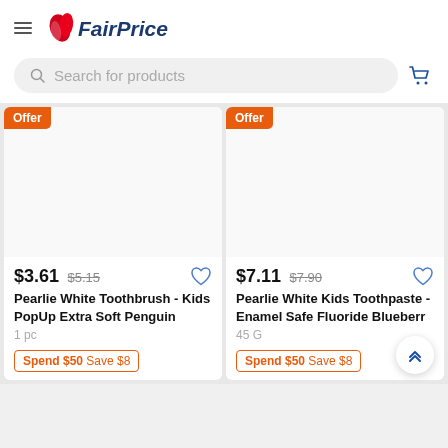FairPrice
Search for products
$3.61 $5.15 Pearlie White Toothbrush - Kids PopUp Extra Soft Penguin 1 pc Offer Spend $50 Save $8
$7.11 $7.90 Pearlie White Kids Toothpaste - Enamel Safe Fluoride Blueberr 45 G Offer Spend $50 Save $8